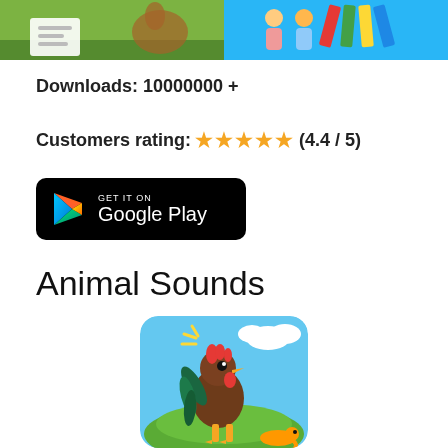[Figure (screenshot): Two app screenshot thumbnails side by side - left shows coloring book app with kangaroo on green background, right shows drawing/coloring app with cartoon children on blue background]
Downloads: 10000000 +
Customers rating: ★★★★★ (4.4 / 5)
[Figure (logo): Get it on Google Play button - black rounded rectangle with Google Play triangle logo and text]
Animal Sounds
[Figure (illustration): Animal Sounds app icon - cartoon rooster on green grass with blue sky and clouds background, with a small snake/worm visible at bottom right]